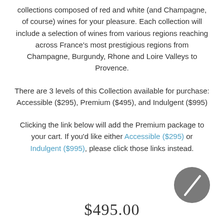collections composed of red and white (and Champagne, of course) wines for your pleasure. Each collection will include a selection of wines from various regions reaching across France's most prestigious regions from Champagne, Burgundy, Rhone and Loire Valleys to Provence.
There are 3 levels of this Collection available for purchase: Accessible ($295), Premium ($495), and Indulgent ($995)
Clicking the link below will add the Premium package to your cart. If you'd like either Accessible ($295) or Indulgent ($995), please click those links instead.
[Figure (illustration): A dark grey circle with a diagonal white stripe/slash across it, positioned in the bottom-right area of the page.]
$495.00